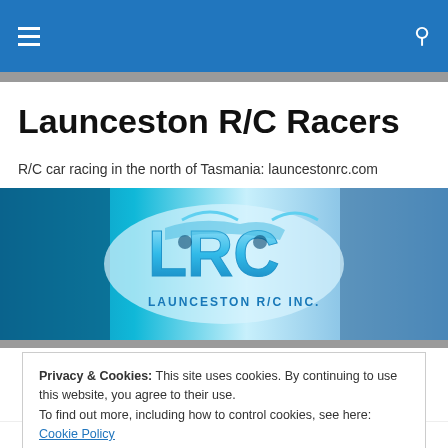Launceston R/C Racers navigation bar with hamburger menu and search icon
Launceston R/C Racers
R/C car racing in the north of Tasmania: launcestonrc.com
[Figure (logo): Launceston R/C Inc. banner with LRC logo on a blue teal background with RC car imagery]
Privacy & Cookies: This site uses cookies. By continuing to use this website, you agree to their use.
To find out more, including how to control cookies, see here: Cookie Policy
The mining trucks are gone: After three race meetings